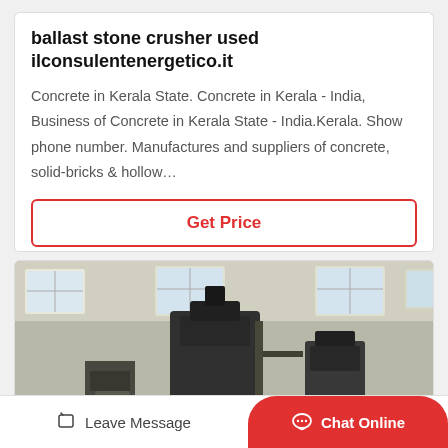ballast stone crusher used ilconsulentenergetico.it
Concrete in Kerala State. Concrete in Kerala - India, Business of Concrete in Kerala State - India.Kerala. Show phone number. Manufactures and suppliers of concrete, solid-bricks & hollow…
Get Price
[Figure (photo): Industrial photo showing large stone crusher machines inside a factory/warehouse with high windows and concrete walls]
Leave Message
Chat Online